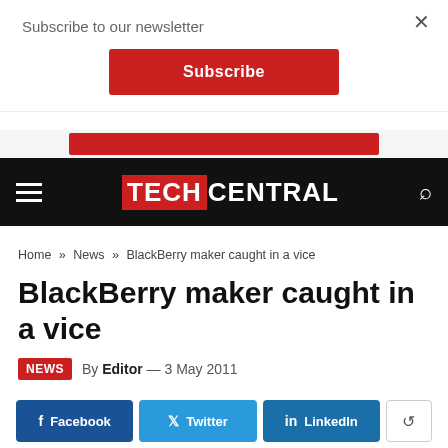Subscribe to our newsletter
[Figure (screenshot): Red Subscribe button on white modal overlay]
[Figure (screenshot): Partial red banner visible below modal]
TECHCENTRAL
Home » News » BlackBerry maker caught in a vice
BlackBerry maker caught in a vice
NEWS  By Editor — 3 May 2011
[Figure (screenshot): Social share buttons: Facebook, Twitter, LinkedIn, and a share arrow button]